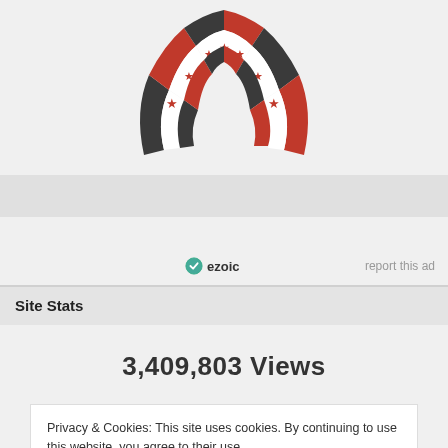[Figure (logo): Circular logo with dark gray and red segments and red stars on white band, partially visible top half]
[Figure (screenshot): Ezoic ad label bar with green circle icon, bold 'ezoic' text, and 'report this ad' link on the right]
Site Stats
3,409,803 Views
Privacy & Cookies: This site uses cookies. By continuing to use this website, you agree to their use.
To find out more, including how to control cookies, see here: Cookie Policy